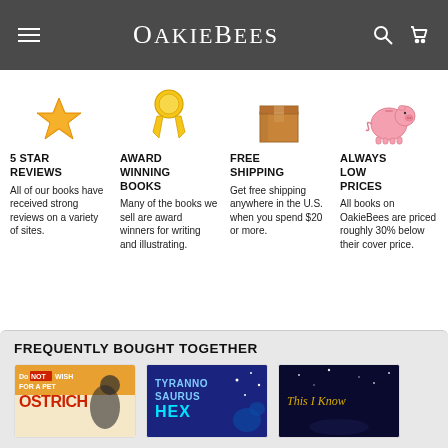OakieBees
[Figure (illustration): Gold star icon for 5 Star Reviews]
5 STAR REVIEWS
All of our books have received strong reviews on a variety of sites.
[Figure (illustration): Gold award ribbon icon for Award Winning Books]
AWARD WINNING BOOKS
Many of the books we sell are award winners for writing and illustrating.
[Figure (illustration): Brown cardboard box icon for Free Shipping]
FREE SHIPPING
Get free shipping anywhere in the U.S. when you spend $20 or more.
[Figure (illustration): Pink piggy bank icon for Always Low Prices]
ALWAYS LOW PRICES
All books on OakieBees are priced roughly 30% below their cover price.
FREQUENTLY BOUGHT TOGETHER
[Figure (illustration): Book cover: Do Not Wish for a Pet Ostrich]
[Figure (illustration): Book cover: Tyrannosaurus Hex]
[Figure (illustration): Book cover: This I Know]